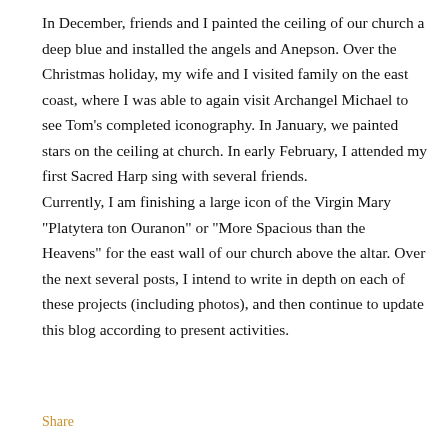In December, friends and I painted the ceiling of our church a deep blue and installed the angels and Anepson. Over the Christmas holiday, my wife and I visited family on the east coast, where I was able to again visit Archangel Michael to see Tom's completed iconography. In January, we painted stars on the ceiling at church. In early February, I attended my first Sacred Harp sing with several friends.
Currently, I am finishing a large icon of the Virgin Mary "Platytera ton Ouranon" or "More Spacious than the Heavens" for the east wall of our church above the altar. Over the next several posts, I intend to write in depth on each of these projects (including photos), and then continue to update this blog according to present activities.
Share